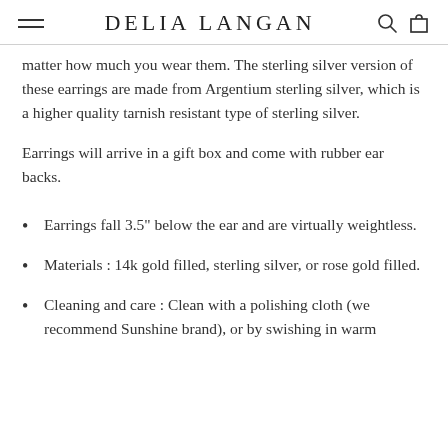DELIA LANGAN
matter how much you wear them. The sterling silver version of these earrings are made from Argentium sterling silver, which is a higher quality tarnish resistant type of sterling silver.
Earrings will arrive in a gift box and come with rubber ear backs.
Earrings fall 3.5" below the ear and are virtually weightless.
Materials : 14k gold filled, sterling silver, or rose gold filled.
Cleaning and care : Clean with a polishing cloth (we recommend Sunshine brand), or by swishing in warm